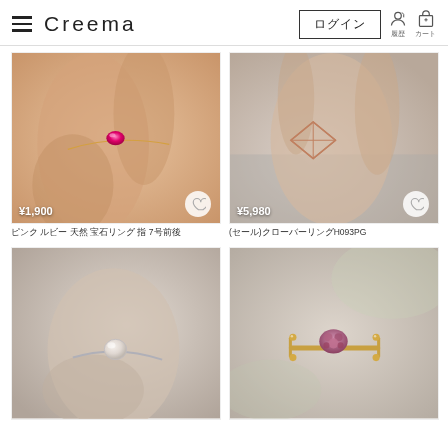Creema  ログイン
[Figure (photo): Close-up photo of a hand wearing a thin gold ring with a bright pink/magenta oval gemstone. Price shown: ¥1,900]
[Figure (photo): Close-up photo of a hand wearing a rose gold geometric wire/lattice ring. Price shown: ¥5,980]
ピンク ルビー 天然 宝石リング 指 7号前後
(セール)クローバーリングH093PG
[Figure (photo): Close-up photo of a hand wearing a simple silver ring with a round translucent/white moonstone or rose quartz cabochon.]
[Figure (photo): Photo of a decorative gold ring with small beads/spheres and a central cluster of small pink/mauve stones, on a soft blurred background.]